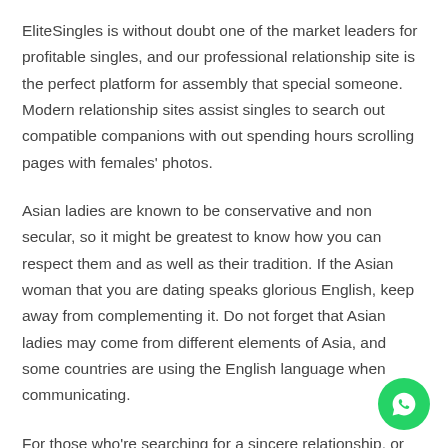EliteSingles is without doubt one of the market leaders for profitable singles, and our professional relationship site is the perfect platform for assembly that special someone. Modern relationship sites assist singles to search out compatible companions with out spending hours scrolling pages with females' photos.
Asian ladies are known to be conservative and non secular, so it might be greatest to know how you can respect them and as well as their tradition. If the Asian woman that you are dating speaks glorious English, keep away from complementing it. Do not forget that Asian ladies may come from different elements of Asia, and some countries are using the English language when communicating.
For those who're searching for a sincere relationship, or are already settle down and get married in the future , we stand out from other Asian dating websites. Nevertheless, it is an unfortunate reality